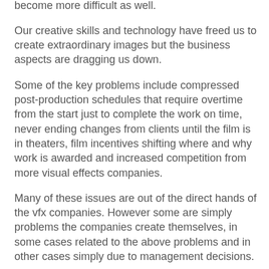effects artists has become more difficult. And trying to keep a visual effects company running has become more difficult as well.
Our creative skills and technology have freed us to create extraordinary images but the business aspects are dragging us down.
Some of the key problems include compressed post-production schedules that require overtime from the start just to complete the work on time, never ending changes from clients until the film is in theaters, film incentives shifting where and why work is awarded and increased competition from more visual effects companies.
Many of these issues are out of the direct hands of the vfx companies. However some are simply problems the companies create themselves, in some cases related to the above problems and in other cases simply due to management decisions.
I've worked directly for studios, I've worked for visual effects